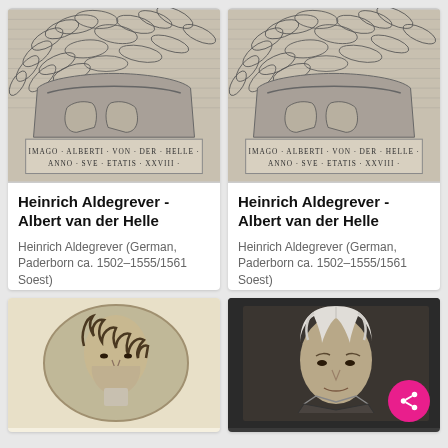[Figure (illustration): Engraving showing upper body/chest detail with feathered or leaf decoration and inscription: IMAGO ALBERTI VON DER HELLE ANNO SVE ETATIS XXVIII - left card]
Heinrich Aldegrever - Albert van der Helle
Heinrich Aldegrever (German, Paderborn ca. 1502–1555/1561 Soest)
[Figure (illustration): Engraving showing upper body/chest detail with feathered or leaf decoration and inscription: IMAGO ALBERTI VON DER HELLE ANNO SVE ETATIS XXVIII - right card]
Heinrich Aldegrever - Albert van der Helle
Heinrich Aldegrever (German, Paderborn ca. 1502–1555/1561 Soest)
[Figure (illustration): Oval portrait engraving of a man with curly hair on cream/yellowish background]
[Figure (illustration): Dark portrait painting of a man with white hair/turban on dark background, with pink share FAB button overlay]